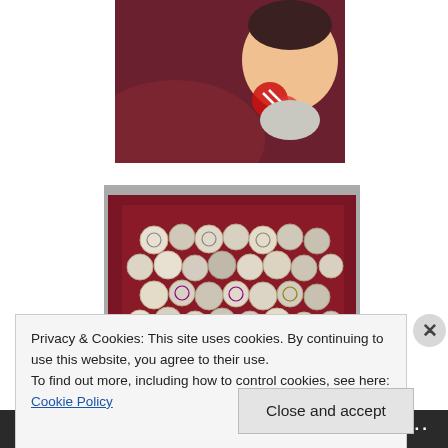[Figure (photo): Partial photo of a baby or young child wearing a red bow/accessory, against a dark maroon/red background, cropped at top]
[Figure (photo): Photo of a decorative quilt or textile art piece displayed on a dark red background, composed of many circular/hexagonal fabric patches with embroidered patterns, mounted inside a frame or on a wall]
Privacy & Cookies: This site uses cookies. By continuing to use this website, you agree to their use.
To find out more, including how to control cookies, see here: Cookie Policy
Close and accept
Follow